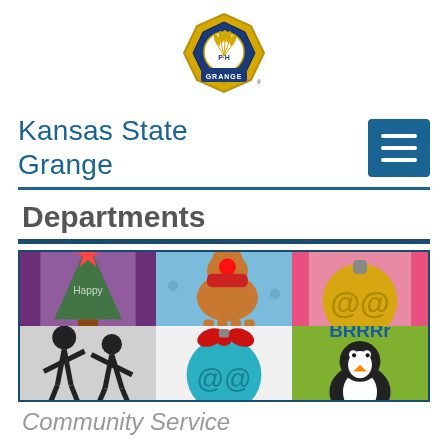[Figure (logo): Kansas State Grange logo - octagonal gold shield badge with wheat/grain imagery and 'P-H GRANGE' text on blue ribbon banner]
Kansas State Grange
[Figure (other): Hamburger menu button (three horizontal lines) in teal/blue square]
Departments
[Figure (photo): Six handmade holiday greeting cards displayed in a 3x2 grid: top row shows a Christmas tree card (purple background), a reindeer card (blue polka dot background), and a gold ornament card (pink/red background); bottom row shows silhouette dancers card (white/gray), a teal ornament with bow card (white), and a penguin with BRRRR text card (green background)]
Community Service